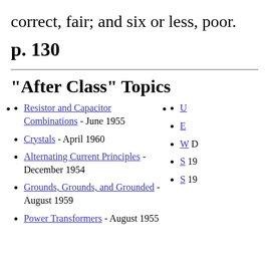correct, fair; and six or less, poor.
p. 130
"After Class" Topics
Resistor and Capacitor Combinations - June 1955
Crystals - April 1960
Alternating Current Principles - December 1954
Grounds, Grounds, and Grounded - August 1959
Power Transformers - August 1955